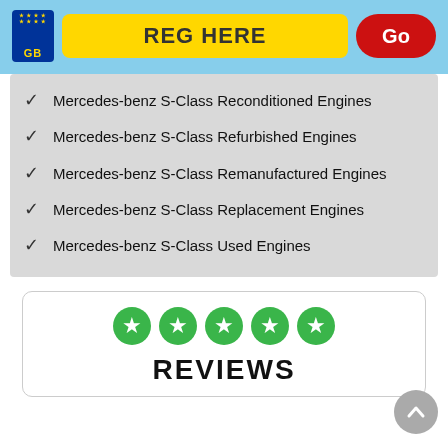[Figure (infographic): UK vehicle registration plate search bar with GB badge, yellow input field labeled REG HERE, and a red Go button]
Mercedes-benz S-Class Reconditioned Engines
Mercedes-benz S-Class Refurbished Engines
Mercedes-benz S-Class Remanufactured Engines
Mercedes-benz S-Class Replacement Engines
Mercedes-benz S-Class Used Engines
[Figure (infographic): Five green star rating icons above the word REVIEWS in bold black text, inside a white card with rounded border]